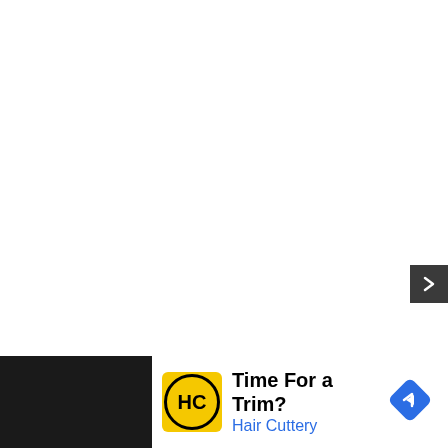the Night [ft. Lil Baby & DaBaby] (prod. by Cashm
[Figure (screenshot): Advertisement bar at the bottom: Hair Cuttery ad with yellow HC logo, text 'Time For a Trim?' and 'Hair Cuttery' in blue, with a blue diamond navigation arrow on the right. Dark background on sides with play/close ad buttons.]